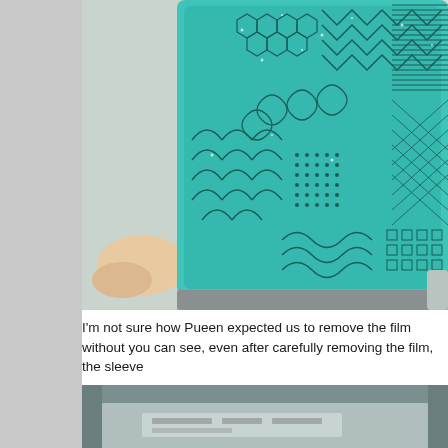[Figure (photo): A hand holding a nail stamping plate with intricate teal/turquoise etched patterns including geometric, lace, and mandala-like designs on a frosted/clear sleeve.]
I'm not sure how Pueen expected us to remove the film without you can see, even after carefully removing the film, the sleeve
[Figure (photo): Close-up photo of the bottom edge of a nail stamping plate in a metal sleeve/case, partially visible.]